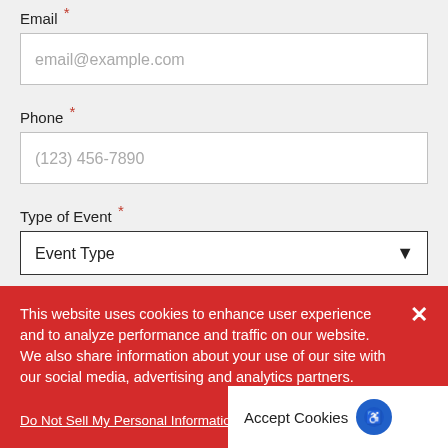Email *
email@example.com
Phone *
(123) 456-7890
Type of Event *
Event Type
Number of Guests *
This website uses cookies to enhance user experience and to analyze performance and traffic on our website. We also share information about your use of our site with our social media, advertising and analytics partners. Privacy Policy
Do Not Sell My Personal Information
Accept Cookies